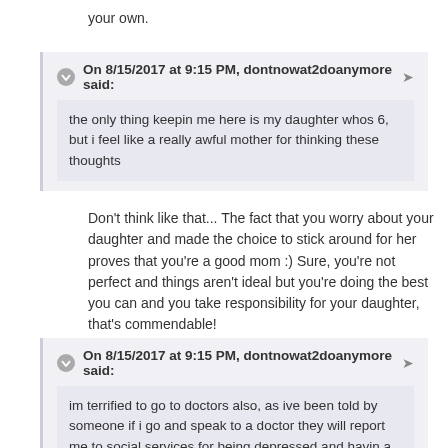your own.
On 8/15/2017 at 9:15 PM, dontnowat2doanymore said:
the only thing keepin me here is my daughter whos 6, but i feel like a really awful mother for thinking these thoughts
Don't think like that... The fact that you worry about your daughter and made the choice to stick around for her proves that you're a good mom :) Sure, you're not perfect and things aren't ideal but you're doing the best you can and you take responsibility for your daughter, that's commendable!
On 8/15/2017 at 9:15 PM, dontnowat2doanymore said:
im terrified to go to doctors also, as ive been told by someone if i go and speak to a doctor they will report me to social services for being depressed and havin a child and i could risk losing my daughter, so all i do is sit at home feeling really bout myself terrified to talk to anyone. 😞